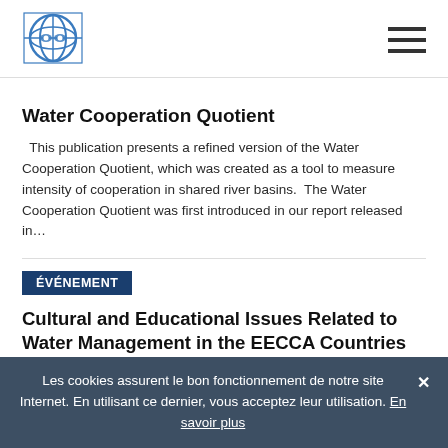[Figure (logo): Circular globe/network logo in blue, resembling the UNESCO IHP or similar intergovernmental water organization logo]
Water Cooperation Quotient
This publication presents a refined version of the Water Cooperation Quotient, which was created as a tool to measure intensity of cooperation in shared river basins.  The Water Cooperation Quotient was first introduced in our report released in…
ÉVÉNEMENT
Cultural and Educational Issues Related to Water Management in the EECCA Countries
Les cookies assurent le bon fonctionnement de notre site Internet. En utilisant ce dernier, vous acceptez leur utilisation. En savoir plus